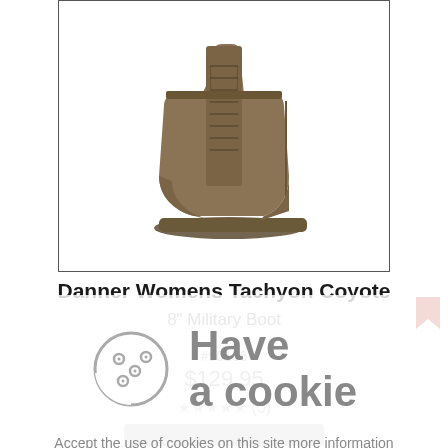[Figure (photo): Product photo of a tan/coyote colored military boot (Danner Womens Tachyon Coyote 8 inch Military Boot) displayed against a white background inside a bordered box]
Danner Womens Tachyon Coyote 8" Military Boot
#50136
$129.95
★★★★★ (0)
Have a cookie
Accept the use of cookies on this site more information
I Accept